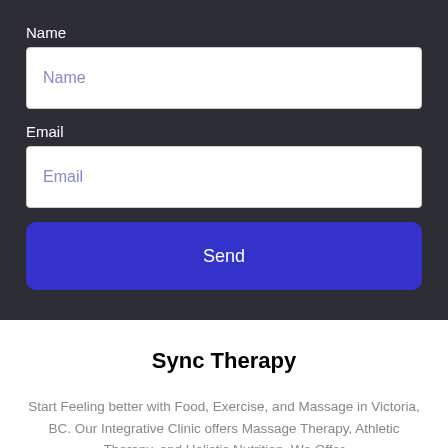Name
[Figure (screenshot): Name input field with placeholder text 'Name']
Email
[Figure (screenshot): Email input field with placeholder text 'Email']
[Figure (screenshot): Send button with blue background and rounded corners]
Sync Therapy
Start Feeling better with Food, Exercise, and Massage in Victoria, BC. Our Integrative Clinic offers Massage Therapy, Athletic Therapy, and Holistic Nutrition. We Offer